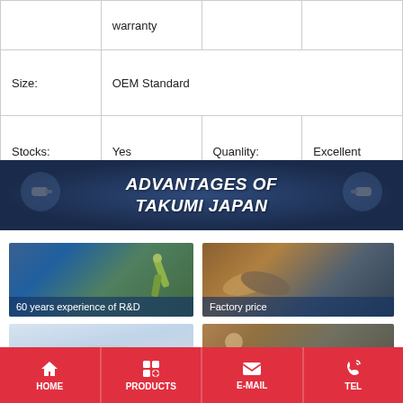|  | warranty |  |  |
| Size: | OEM Standard |  |  |
| Stocks: | Yes | Quanlity: | Excellent |
[Figure (infographic): Banner with dark blue background reading ADVANTAGES OF TAKUMI JAPAN in bold italic white text]
[Figure (photo): Factory/R&D image with robots and workers, captioned '60 years experience of R&D']
[Figure (photo): Handshake over money image captioned 'Factory price']
[Figure (photo): Airplane in flight image (shipping/logistics)]
[Figure (photo): Factory worker and industrial setting image]
HOME   PRODUCTS   E-MAIL   TEL